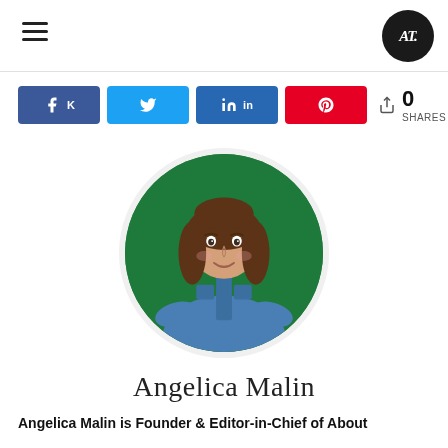AT (logo) — navigation header
[Figure (infographic): Social share buttons: Facebook (k), Twitter (in), LinkedIn (in), Pinterest (p), followed by share count 0 SHARES]
[Figure (photo): Circular cropped profile photo of Angelica Malin — woman with long brown hair wearing denim short-sleeve zip-up top, posed against a green background]
Angelica Malin
Angelica Malin is Founder & Editor-in-Chief of About